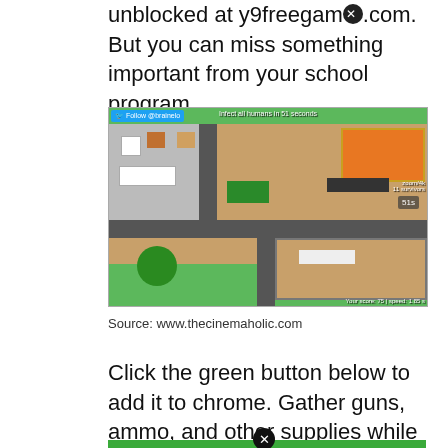unblocked at y9freegame.com. But you can miss something important from your school program.
[Figure (screenshot): Screenshot of a top-down 2D browser game showing a map with rooms, roads, green outdoor areas, and game HUD elements including 'Follow @brainelo', 'Infect all humans in 51 seconds', survivor count, score, and speed stats.]
Source: www.thecinemaholic.com
Click the green button below to add it to chrome. Gather guns, ammo, and other supplies while the ominous red zone steadily pushes every player closer and closer together.